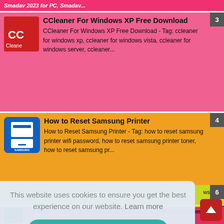Smadav 2023 for PC, Smadav...
CCleaner For Windows XP Free Download — CCleaner For Windows XP Free Download  - Tag: ccleaner for windows xp,  ccleaner for windows vista,  ccleaner for windows server,  ccleaner...  [3]
How to Reset Samsung Printer — How to Reset Samsung Printer - Tag: how to reset samsung printer wifi password, how to reset samsung printer toner, how to reset samsung pr...  [4]
SAMSUNG SCX-3201G Printer Drivers & Download — SAMSUNG SCX-3201G Printer Drivers Download - Tag: samsung scx 3201g printer driver download for windows 10, samsung scx 3201g printer softw...  [5]
This website uses cookies to ensure you get the best experience on our website.  Learn more
Got it!
Eset Antivirus Free Download Full Version - Eset Antivirus Free Download, Eset Antivirus 2020, Eset Antivirus 2021, E...  [6]